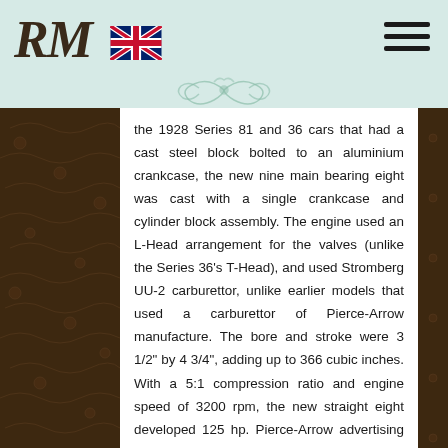RM | EN flag | hamburger menu
the 1928 Series 81 and 36 cars that had a cast steel block bolted to an aluminium crankcase, the new nine main bearing eight was cast with a single crankcase and cylinder block assembly. The engine used an L-Head arrangement for the valves (unlike the Series 36's T-Head), and used Stromberg UU-2 carburettor, unlike earlier models that used a carburettor of Pierce-Arrow manufacture. The bore and stroke were 3 1/2" by 4 3/4", adding up to 366 cubic inches. With a 5:1 compression ratio and engine speed of 3200 rpm, the new straight eight developed 125 hp. Pierce-Arrow advertising claimed a top speed of 85 mph. The new straight-eight was